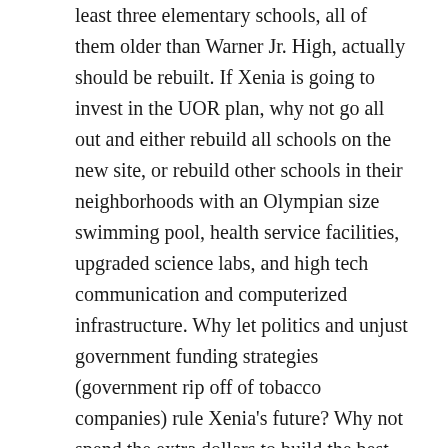least three elementary schools, all of them older than Warner Jr. High, actually should be rebuilt. If Xenia is going to invest in the UOR plan, why not go all out and either rebuild all schools on the new site, or rebuild other schools in their neighborhoods with an Olympian size swimming pool, health service facilities, upgraded science labs, and high tech communication and computerized infrastructure. Why let politics and unjust government funding strategies (government rip off of tobacco companies) rule Xenia's future? Why not spend the extra dollars to build the best possible educational facilities meeting future needs today?